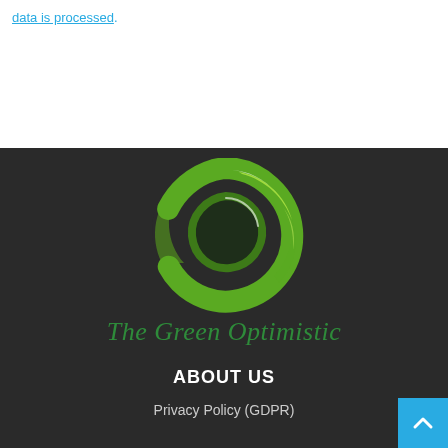data is processed.
[Figure (logo): The Green Optimistic logo — a green swirling leaf-like spiral forming an O shape on a dark background, with brand name 'The Green Optimistic' in green italic serif text below]
ABOUT US
Privacy Policy (GDPR)